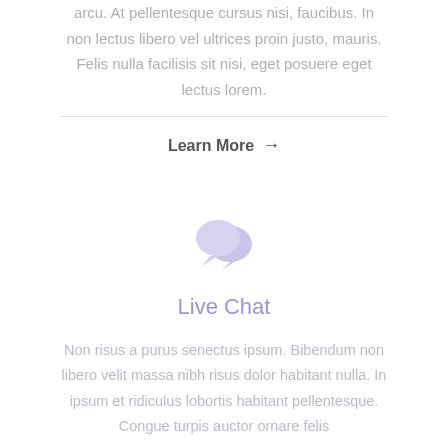arcu. At pellentesque cursus nisi, faucibus. In non lectus libero vel ultrices proin justo, mauris. Felis nulla facilisis sit nisi, eget posuere eget lectus lorem.
Learn More →
[Figure (illustration): Two overlapping speech bubble icons in light purple/lavender color, representing live chat.]
Live Chat
Non risus a purus senectus ipsum. Bibendum non libero velit massa nibh risus dolor habitant nulla. In ipsum et ridiculus lobortis habitant pellentesque. Congue turpis auctor ornare felis